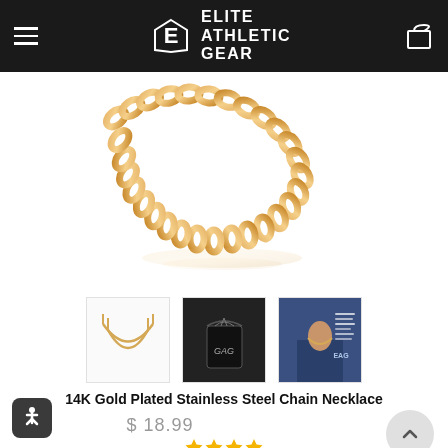Elite Athletic Gear
[Figure (photo): Gold curb chain necklace displayed against white background with reflection]
[Figure (photo): Three product thumbnails: layered necklace display, black gift pouch with chain, and man wearing chain necklace with size guide]
14K Gold Plated Stainless Steel Chain Necklace
$ 18.99
Stars rating row with approximately 4 stars and review count